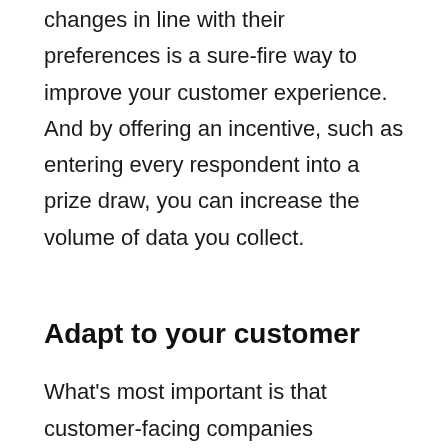changes in line with their preferences is a sure-fire way to improve your customer experience. And by offering an incentive, such as entering every respondent into a prize draw, you can increase the volume of data you collect.
Adapt to your customer
What's most important is that customer-facing companies continuously adapt to the latest consumer expectations. Most of the time, you can get those five-star